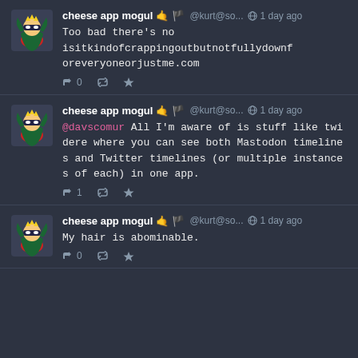cheese app mogul 🤙🏴 @kurt@so... 1 day ago
Too bad there's no isitkindofcrappingoutbutnotfullydownforeveryoneorjustme.com
↩ 0  🔁  ★
cheese app mogul 🤙🏴 @kurt@so... 1 day ago
@davscomur All I'm aware of is stuff like twidere where you can see both Mastodon timelines and Twitter timelines (or multiple instances of each) in one app.
↩ 1  🔁  ★
cheese app mogul 🤙🏴 @kurt@so... 1 day ago
My hair is abominable.
↩ 0  🔁  ★